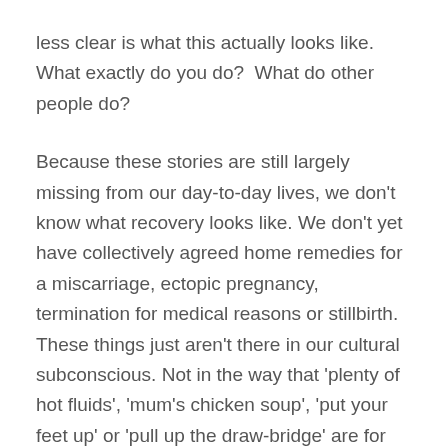less clear is what this actually looks like. What exactly do you do?  What do other people do?
Because these stories are still largely missing from our day-to-day lives, we don't know what recovery looks like. We don't yet have collectively agreed home remedies for a miscarriage, ectopic pregnancy, termination for medical reasons or stillbirth. These things just aren't there in our cultural subconscious. Not in the way that 'plenty of hot fluids', 'mum's chicken soup', 'put your feet up' or 'pull up the draw-bridge' are for the flu, twisting your ankle or giving birth.
No one sits you down and talks about these common-sense prescriptions, we just know them; they're imprinted by a whole lifetime of seeing the people around us get